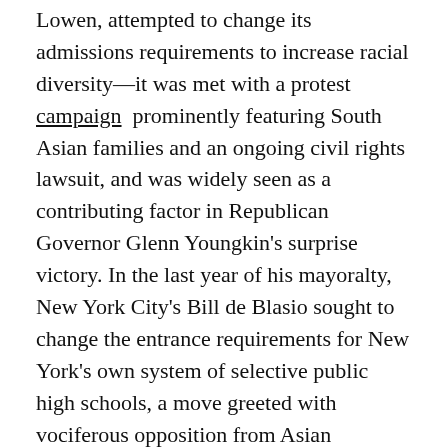Lowen, attempted to change its admissions requirements to increase racial diversity—it was met with a protest campaign prominently featuring South Asian families and an ongoing civil rights lawsuit, and was widely seen as a contributing factor in Republican Governor Glenn Youngkin's surprise victory. In the last year of his mayoralty, New York City's Bill de Blasio sought to change the entrance requirements for New York's own system of selective public high schools, a move greeted with vociferous opposition from Asian American groups.
In the criminal justice sphere, Boudin's defeat will undoubtedly lead to increased scrutiny of the other paragons of the progressive prosecutor movement: Philadelphia's Larry Krasner and New York's Alvin Bragg. Bragg, in particular, has made moves to address a perceived growing Asian American...